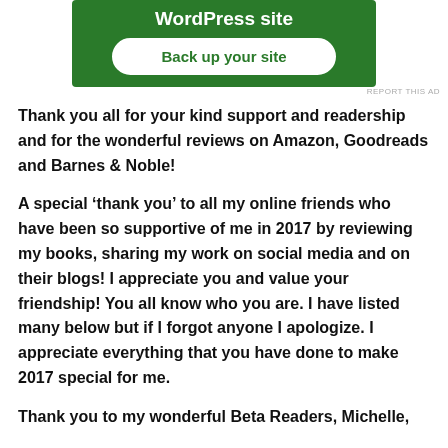[Figure (screenshot): Green advertisement banner for WordPress backup service with a 'Back up your site' button]
REPORT THIS AD
Thank you all for your kind support and readership and for the wonderful reviews on Amazon, Goodreads and Barnes & Noble!
A special ‘thank you’ to all my online friends who have been so supportive of me in 2017 by reviewing my books, sharing my work on social media and on their blogs! I appreciate you and value your friendship! You all know who you are. I have listed many below but if I forgot anyone I apologize. I appreciate everything that you have done to make 2017 special for me.
Thank you to my wonderful Beta Readers, Michelle,